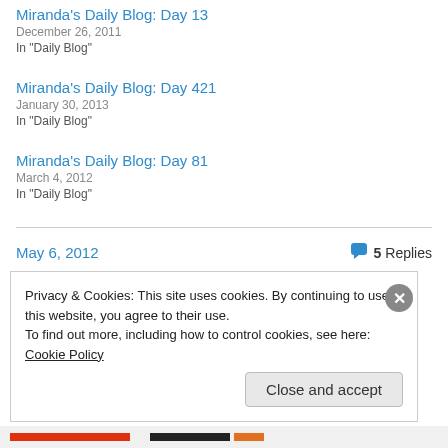Miranda's Daily Blog: Day 13
December 26, 2011
In "Daily Blog"
Miranda's Daily Blog: Day 421
January 30, 2013
In "Daily Blog"
Miranda's Daily Blog: Day 81
March 4, 2012
In "Daily Blog"
May 6, 2012
5 Replies
Privacy & Cookies: This site uses cookies. By continuing to use this website, you agree to their use.
To find out more, including how to control cookies, see here: Cookie Policy
Close and accept